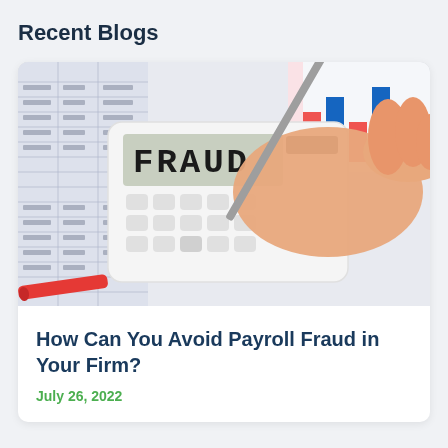Recent Blogs
[Figure (photo): A hand holding a pen rests on a white calculator displaying the word FRAUD on its screen, placed on top of financial spreadsheets and bar charts with red and blue colors.]
How Can You Avoid Payroll Fraud in Your Firm?
July 26, 2022